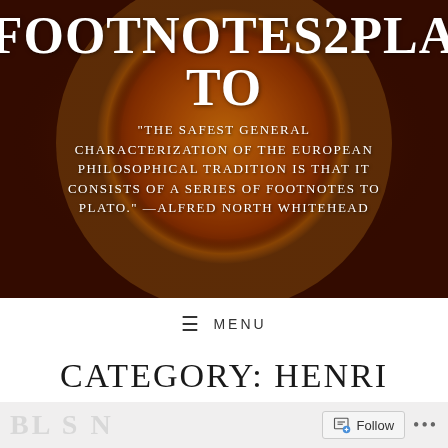[Figure (illustration): Website header banner with dark brown/maroon background featuring a glowing golden-orange sun sphere. White text overlaid shows site title FOOTNOTES2PLATO and a quote by Alfred North Whitehead.]
FOOTNOTES2PLATO
"THE SAFEST GENERAL CHARACTERIZATION OF THE EUROPEAN PHILOSOPHICAL TRADITION IS THAT IT CONSISTS OF A SERIES OF FOOTNOTES TO PLATO." —ALFRED NORTH WHITEHEAD
≡ MENU
CATEGORY: HENRI
Follow ...